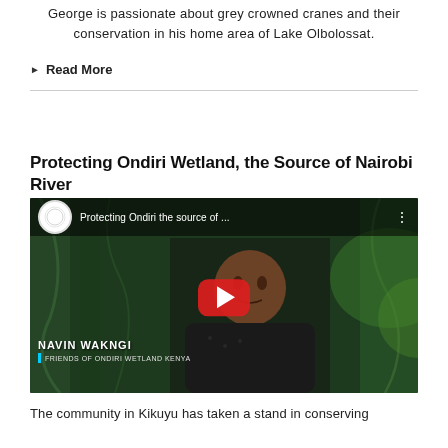George is passionate about grey crowned cranes and their conservation in his home area of Lake Olbolossat.
▶ Read More
Protecting Ondiri Wetland, the Source of Nairobi River
[Figure (screenshot): YouTube video thumbnail showing a man named Navin Wakngi, Friends of Ondiri Wetland Kenya, with title 'Protecting Ondiri the source of...' and a red play button overlay.]
The community in Kikuyu has taken a stand in conserving